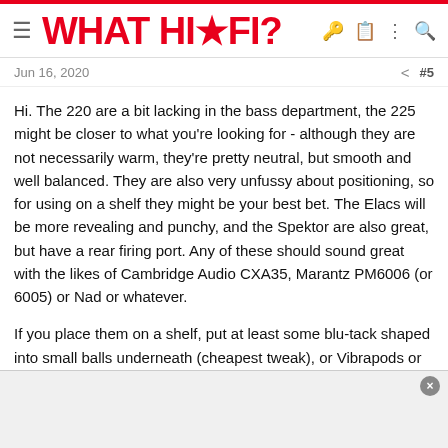WHAT HI-FI?
Jun 16, 2020   #5
Hi. The 220 are a bit lacking in the bass department, the 225 might be closer to what you're looking for - although they are not necessarily warm, they're pretty neutral, but smooth and well balanced. They are also very unfussy about positioning, so for using on a shelf they might be your best bet. The Elacs will be more revealing and punchy, and the Spektor are also great, but have a rear firing port. Any of these should sound great with the likes of Cambridge Audio CXA35, Marantz PM6006 (or 6005) or Nad or whatever.
If you place them on a shelf, put at least some blu-tack shaped into small balls underneath (cheapest tweak), or Vibrapods or (preferably but expensive) ISOacoustics L8R stands (there's several sizes/models for both Vibrapods and ISOacoustics, so check which one would s…